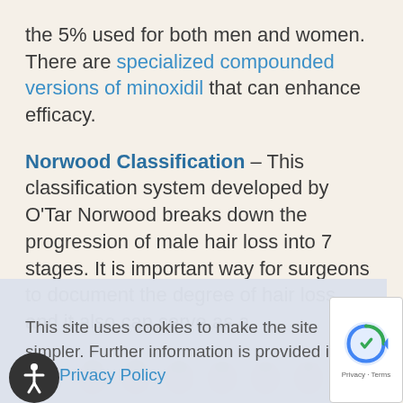the 5% used for both men and women. There are specialized compounded versions of minoxidil that can enhance efficacy.
Norwood Classification – This classification system developed by O'Tar Norwood breaks down the progression of male hair loss into 7 stages. It is important way for surgeons to document the degree of hair loss, and it also can serve as a
This site uses cookies to make the site simpler. Further information is provided in our  Privacy Policy
Accept
[Figure (illustration): Row of head silhouettes showing Norwood hair loss stages at the bottom of the page]